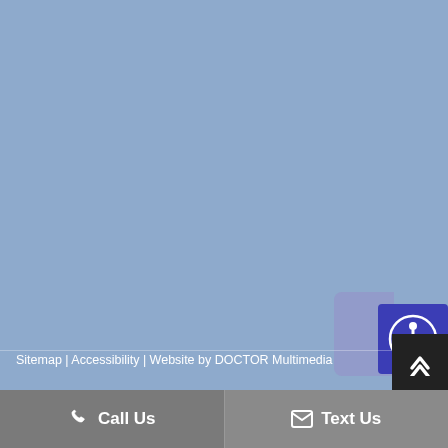[Figure (illustration): Blue-grey background with repeating semi-transparent triangle/arrow pattern arranged in a grid across the entire background area]
[Figure (logo): Accessibility icon badge - blue square with white accessibility symbol (person with arms outstretched in circle), partially overlaid on a rounded purple background element]
Sitemap | Accessibility | Website by DOCTOR Multimedia
Call Us
Text Us